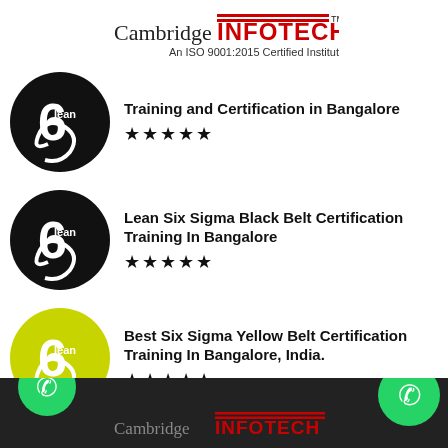[Figure (logo): Cambridge INFOTECH logo with TM mark and ISO 9001:2015 Certified Institute tagline]
[Figure (logo): Lean Six Sigma black circular logo with '6 lean' text]
Training and Certification in Bangalore
★★★★★
[Figure (logo): Lean Six Sigma black circular logo with '6 lean' text]
Lean Six Sigma Black Belt Certification Training In Bangalore
★★★★★
[Figure (logo): Lean Six Sigma yellow-green circular logo with '6 lean' text]
Best Six Sigma Yellow Belt Certification Training In Bangalore, India.
★★★★★
Cambridge INFOTECH footer with WhatsApp contact buttons